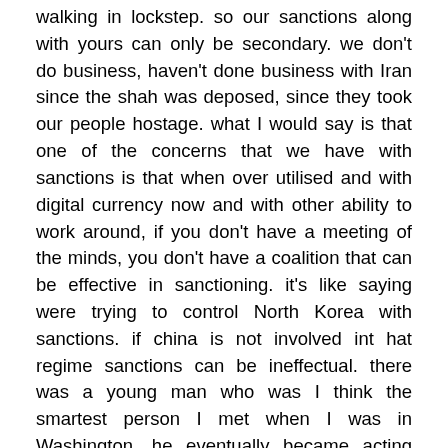walking in lockstep. so our sanctions along with yours can only be secondary. we don't do business, haven't done business with Iran since the shah was deposed, since they took our people hostage. what I would say is that one of the concerns that we have with sanctions is that when over utilised and with digital currency now and with other ability to work around, if you don't have a meeting of the minds, you don't have a coalition that can be effective in sanctioning. it's like saying were trying to control North Korea with sanctions. if china is not involved int hat regime sanctions can be ineffectual. there was a young man who was I think the smartest person I met when I was in Washington, he eventually became acting deputy of the treasury. he was single-handedly responsible for implementing the sanctions regime that led to the JCPOA. as you guys look at some local issues here, a local issue that is peculating in the united